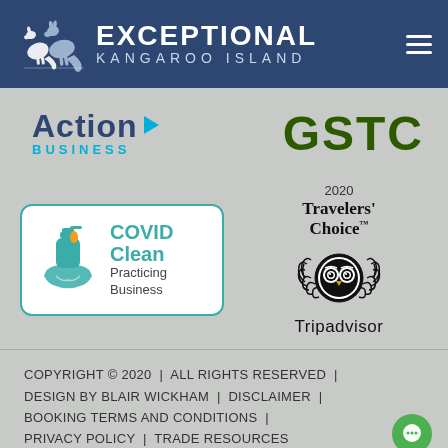[Figure (logo): Exceptional Kangaroo Island logo with two kangaroo silhouettes on dark navy background, with text 'EXCEPTIONAL KANGAROO ISLAND' and hamburger menu icon]
[Figure (logo): Action Business logo with dark blue 'Action' text, cyan play-button triangle, and 'BUSINESS' in cyan spaced letters]
[Figure (logo): GSTC logo in large dark green bold letters]
[Figure (logo): COVID Clean Practicing Business badge with teal border, hand sanitizer icon, and teal text]
[Figure (logo): 2020 Travelers' Choice Tripadvisor badge with owl medallion logo]
COPYRIGHT © 2020  |  ALL RIGHTS RESERVED  |  DESIGN BY BLAIR WICKHAM  |  DISCLAIMER  |  BOOKING TERMS AND CONDITIONS  |  PRIVACY POLICY  |  TRADE RESOURCES